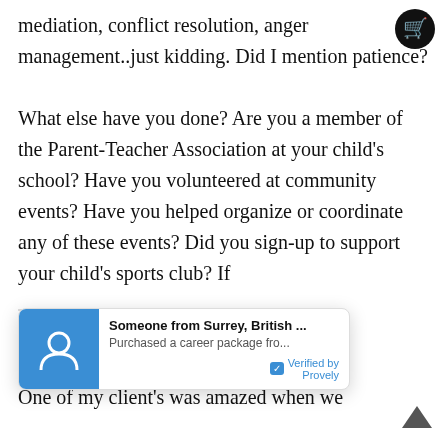mediation, conflict resolution, anger management..just kidding.  Did I mention patience?

What else have you done?  Are you a member of the Parent-Teacher Association at your child's school?  Have you volunteered at community events?  Have you helped organize or coordinate any of these events?  Did you sign-up to support your child's sports club? If s[omething did you do it?]

[...] with?

One of my client's was amazed when we
[Figure (screenshot): Popup notification widget: blue avatar icon on left, text 'Someone from Surrey, British ...' in bold, 'Purchased a career package fro...' below, and 'Verified by Provely' with blue checkbox at bottom right.]